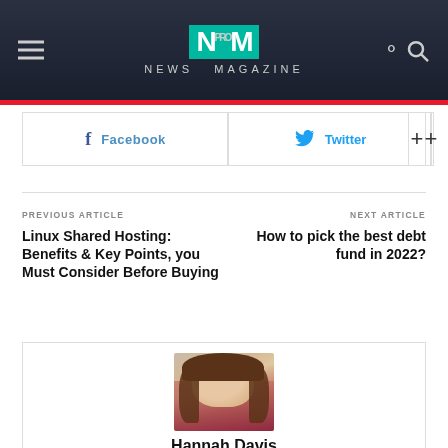NEWS MAGAZINE
Facebook
Twitter
+
PREVIOUS ARTICLE
Linux Shared Hosting: Benefits & Key Points, you Must Consider Before Buying
NEXT ARTICLE
How to pick the best debt fund in 2022?
[Figure (photo): Portrait photo of Hannah Davis, a young woman with long wavy brown hair, wearing a white top with red accents]
Hannah Davis